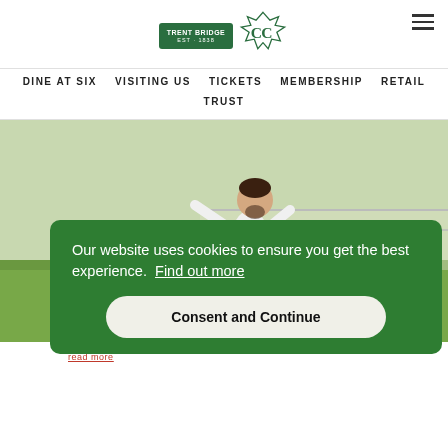[Figure (logo): Trent Bridge green badge logo and Nottinghamshire CCC monogram logo]
DINE AT SIX  VISITING US  TICKETS  MEMBERSHIP  RETAIL  TRUST
[Figure (photo): Cricket bowler in white kit mid-delivery action on green field with stumps visible in background]
Our website uses cookies to ensure you get the best experience.  Find out more
Consent and Continue